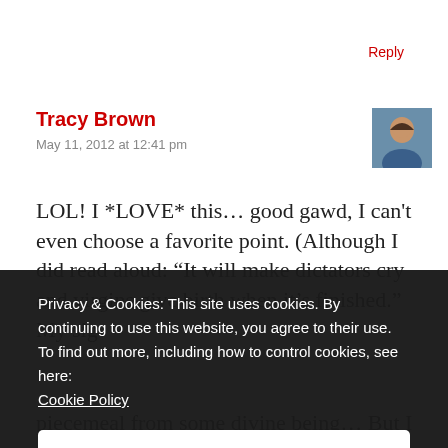Reply
Tracy Brown
May 11, 2012 at 12:41 pm
[Figure (photo): Avatar photo of Tracy Brown, a woman with dark hair]
LOL! I *LOVE* this… good gawd, I can't even choose a favorite point. (Although I did read aloud: “It will make dictators cry and virgins give birth when it’s finished.” My sig
Privacy & Cookies: This site uses cookies. By continuing to use this website, you agree to their use.
To find out more, including how to control cookies, see here:
Cookie Policy
Close and accept
piecemeal from some divine being… But I doubt it.